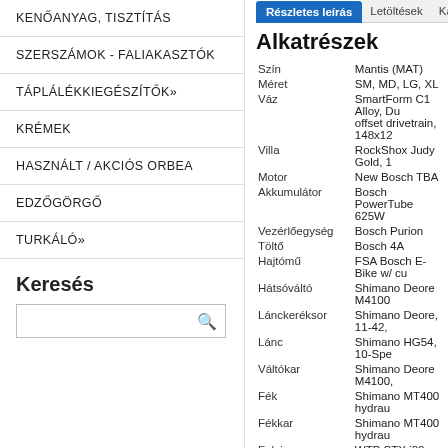KENŐANYAG, TISZTÍTÁS
SZERSZÁMOK - FALIAKASZTÓK
TÁPLÁLÉKKIEGÉSZÍTŐK»
KRÉMEK
HASZNÁLT / AKCIÓS ORBEA
EDZŐGÖRGŐ
TURKÁLÓ»
Keresés
Alkatrészek
| Property | Value |
| --- | --- |
| Szín | Mantis (MAT) |
| Méret | SM, MD, LG, XL |
| Váz | SmartForm C1 Alloy, Du offset drivetrain, 148x12 |
| Villa | RockShox Judy Gold, 1 |
| Motor | New Bosch TBA |
| Akkumulátor | Bosch PowerTube 625W |
| Vezérlőegység | Bosch Purion |
| Töltő | Bosch 4A |
| Hajtómű | FSA Bosch E-Bike w/ cu |
| Hátsóváltó | Shimano Deore M4100 |
| Lánckeréksor | Shimano Deore, 11-42, |
| Lánc | Shimano HG54, 10-Spe |
| Váltókar | Shimano Deore M4100, |
| Fék | Shimano MT400 hydrau |
| Fékkar | Shimano MT400 hydrau |
| Felni | WTB STX i30 TCS, 32h |
| Agy | (F) Shimano MT400, 15 |
| Küllő | DT Swiss Champion |
| Külső | Maxxis Rekon, 29 x 2.6 |
| Kormány | Cannondale 3 Riser, 60 |
| Kormányszár | Cannondale 3, 6061 All |
| Kormánycsapágy | Integrated Sealed Beari |
| Nyereg | Cannondale Ergo XC |
| Nyeregszár | Cannondale 4, 6061 All |
| Extra | Pre-installed light cables |
| Y | 2021 |
| * | A műszaki adatok és ár |